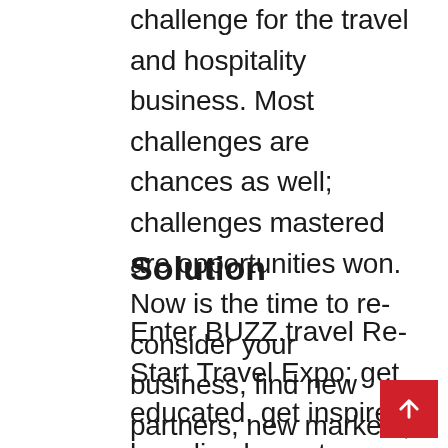challenge for the travel and hospitality business. Most challenges are chances as well; challenges mastered are opportunities won. Now is the time to reconsider your business, find new partners, new markets, work better – use new technologies!
Solution
Enter BUZZ.travel Re-Start Travel Expo; get educated, get inspired, hear live keynote speaker and discussion, ask questions, and network with others – without flying to another city or country.